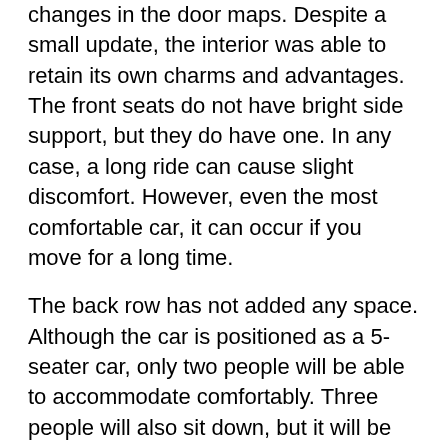changes in the door maps. Despite a small update, the interior was able to retain its own charms and advantages. The front seats do not have bright side support, but they do have one. In any case, a long ride can cause slight discomfort. However, even the most comfortable car, it can occur if you move for a long time.
The back row has not added any space. Although the car is positioned as a 5-seater car, only two people will be able to accommodate comfortably. Three people will also sit down, but it will be inconvenient for them to sit for a long time. The luggage compartment has not changed. Sedan version has about 500 liters, which is in principle a very good result, but the hatchback has only 389 liters. If necessary, you can fold the backrests of the seats and then, of 389 liters, there will